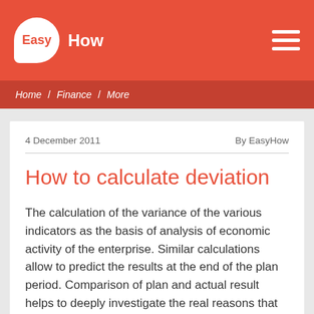EasyHow
Home / Finance / More
4 December 2011   By EasyHow
How to calculate deviation
The calculation of the variance of the various indicators as the basis of analysis of economic activity of the enterprise. Similar calculations allow to predict the results at the end of the plan period. Comparison of plan and actual result helps to deeply investigate the real reasons that affect the